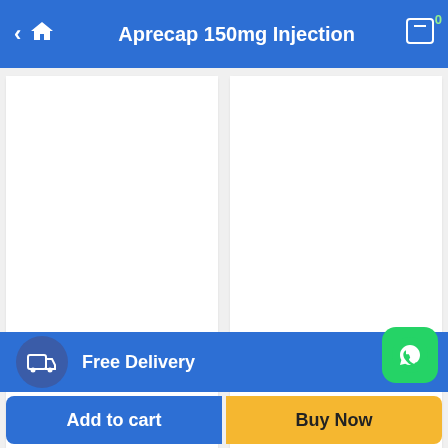Aprecap 150mg Injection
Select options
Emeset 4 Mg
$12 – $32
Select options
pantocid dsr
$16 – $44
Free Delivery
Add to cart
Buy Now